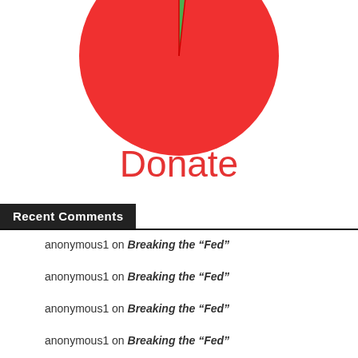[Figure (pie-chart): Donate]
Donate
Recent Comments
anonymous1 on Breaking the “Fed”
anonymous1 on Breaking the “Fed”
anonymous1 on Breaking the “Fed”
anonymous1 on Breaking the “Fed”